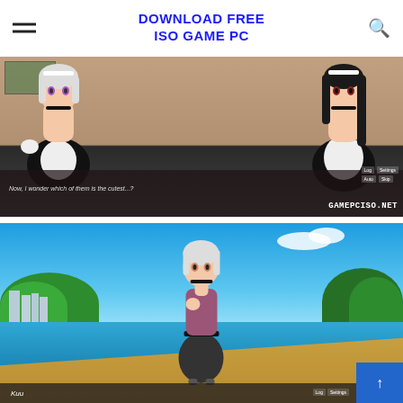DOWNLOAD FREE ISO GAME PC
[Figure (screenshot): Anime visual novel screenshot showing two maid-dressed anime characters in an indoor classroom setting. Dialogue text reads: 'Now, I wonder which of them is the cutest...?' with GAMEPCISO.NET watermark and UI buttons (Log, Settings, Auto, Skip).]
[Figure (screenshot): Anime visual novel screenshot showing a white-haired anime character named Kuu standing on a beach with ocean and green hills in background. Blue UI button with scroll arrow visible in bottom right corner.]